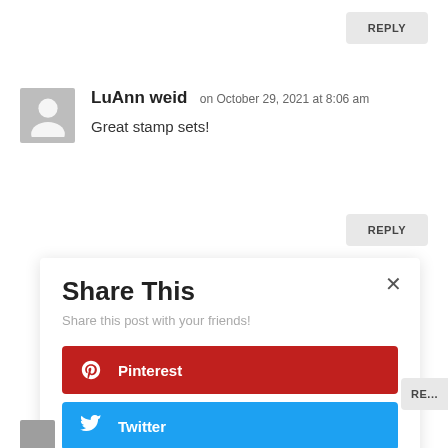REPLY
LuAnn weid on October 29, 2021 at 8:06 am
Great stamp sets!
REPLY
Share This
Share this post with your friends!
Pinterest
Twitter